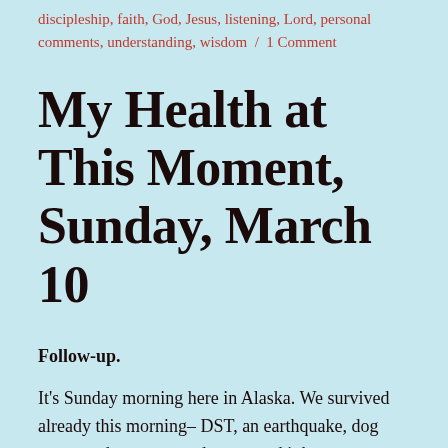discipleship, faith, God, Jesus, listening, Lord, personal comments, understanding, wisdom / 1 Comment
My Health at This Moment, Sunday, March 10
Follow-up.
It's Sunday morning here in Alaska. We survived already this morning– DST, an earthquake, dog poop on the carpet, and snow, and it has not even occurred (Google, it's